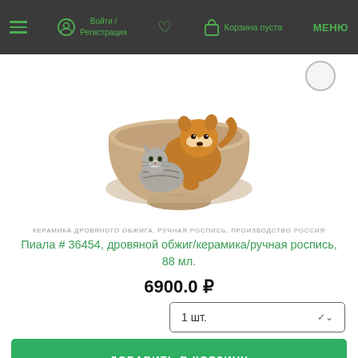Войти / Регистрация  Корзина пуста  МЕНЮ
[Figure (photo): Ceramic bowl with hand-painted dog and cat design, wood-fired pottery]
КЕРАМИКА ДРОВЯНОГО ОБЖИГА, РУЧНАЯ РОСПИСЬ, ПРОИЗВОДСТВО РОССИЯ
Пиала # 36454, дровяной обжиг/керамика/ручная роспись, 88 мл.
6900.0 ₽
1 шт.
ДОБАВИТЬ В КОРЗИНУ